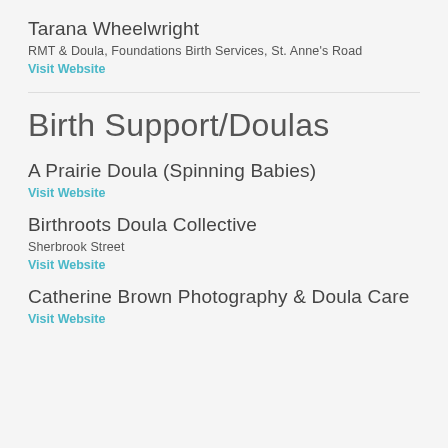Tarana Wheelwright
RMT & Doula, Foundations Birth Services, St. Anne's Road
Visit Website
Birth Support/Doulas
A Prairie Doula (Spinning Babies)
Visit Website
Birthroots Doula Collective
Sherbrook Street
Visit Website
Catherine Brown Photography & Doula Care
Visit Website